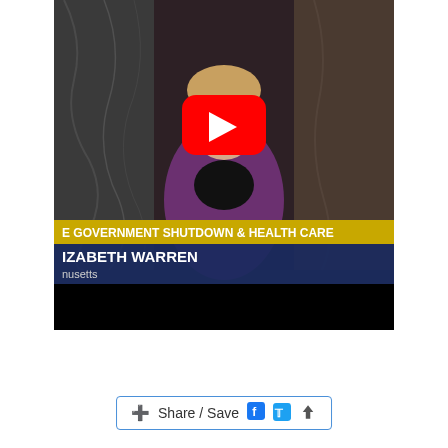[Figure (screenshot): YouTube video thumbnail showing Elizabeth Warren speaking at a podium. Lower third text reads 'GOVERNMENT SHUTDOWN & HEALTH CARE' in gold bar, 'ELIZABETH WARREN' in blue bar, 'Massachusetts' below. A red YouTube play button is overlaid in the center.]
Share / Save